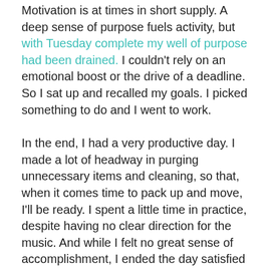Motivation is at times in short supply. A deep sense of purpose fuels activity, but with Tuesday complete my well of purpose had been drained. I couldn't rely on an emotional boost or the drive of a deadline. So I sat up and recalled my goals. I picked something to do and I went to work.
In the end, I had a very productive day. I made a lot of headway in purging unnecessary items and cleaning, so that, when it comes time to pack up and move, I'll be ready. I spent a little time in practice, despite having no clear direction for the music. And while I felt no great sense of accomplishment, I ended the day satisfied that I had done what I could do.
I suppose some days you just have to keep moving. In the end, it's the only way to get there.